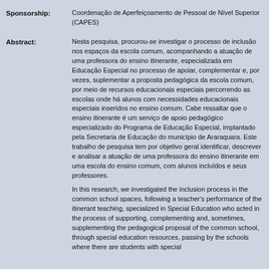Sponsorship: Coordenação de Aperfeiçoamento de Pessoal de Nível Superior (CAPES)
Abstract: Nesta pesquisa, procurou-se investigar o processo de inclusão nos espaços da escola comum, acompanhando a atuação de uma professora do ensino itinerante, especializada em Educação Especial no processo de apoiar, complementar e, por vezes, suplementar a proposta pedagógica da escola comum, por meio de recursos educacionais especiais percorrendo as escolas onde há alunos com necessidades educacionais especiais inseridos no ensino comum. Cabe ressaltar que o ensino itinerante é um serviço de apoio pedagógico especializado do Programa de Educação Especial, implantado pela Secretaria de Educação do município de Araraquara. Este trabalho de pesquisa tem por objetivo geral identificar, descrever e analisar a atuação de uma professora do ensino itinerante em uma escola do ensino comum, com alunos incluídos e seus professores.

In this research, we investigated the inclusion process in the common school spaces, following a teacher's performance of the itinerant teaching, specialized in Special Education who acted in the process of supporting, complementing and, sometimes, supplementing the pedagogical proposal of the common school, through special education resources, passing by the schools where there are students with special